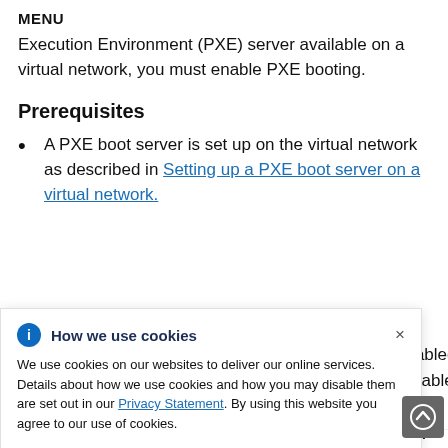MENU
Execution Environment (PXE) server available on a virtual network, you must enable PXE booting.
Prerequisites
A PXE boot server is set up on the virtual network as described in Setting up a PXE boot server on a virtual network.
How we use cookies
We use cookies on our websites to deliver our online services. Details about how we use cookies and how you may disable them are set out in our Privacy Statement. By using this website you agree to our use of cookies.
enabled. available on new 10 GB